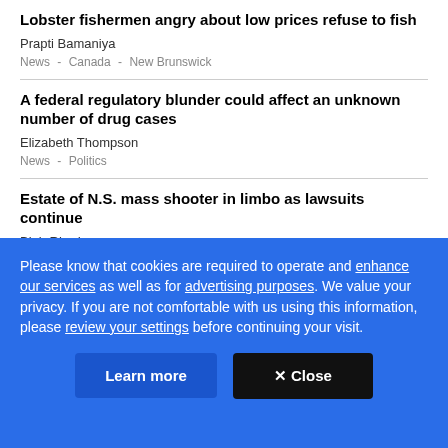Lobster fishermen angry about low prices refuse to fish
Prapti Bamaniya
News  -  Canada  -  New Brunswick
A federal regulatory blunder could affect an unknown number of drug cases
Elizabeth Thompson
News  -  Politics
Estate of N.S. mass shooter in limbo as lawsuits continue
Blair Rhodes
Please know that cookies are required to operate and enhance our services as well as for advertising purposes. We value your privacy. If you are not comfortable with us using this information, please review your settings before continuing your visit.
Learn more
✕ Close